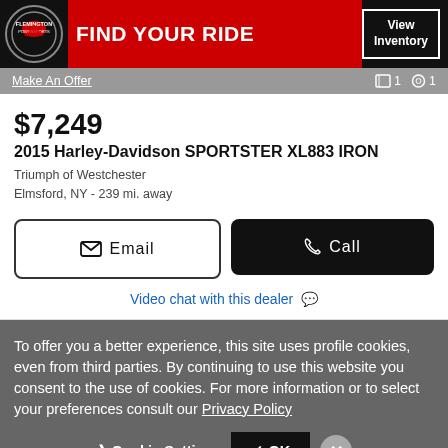[Figure (illustration): Flemington Powersports banner ad: logo on left, red background with 'FIND YOUR RIDE' text, black 'View Inventory' button on right]
Make An Offer
1  1
$7,249
2015 Harley-Davidson SPORTSTER XL883 IRON
Triumph of Westchester
Elmsford, NY - 239 mi. away
Email
Call
Video chat with this dealer 💬
To offer you a better experience, this site uses profile cookies, even from third parties. By continuing to use this website you consent to the use of cookies. For more information or to select your preferences consult our Privacy Policy
Cookie Settings
✓ OK